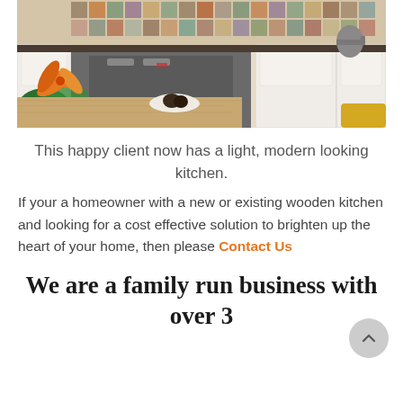[Figure (photo): A light modern kitchen with white cabinets, colorful tile backsplash, stainless steel appliances, wooden countertop/table, and orange lily flowers in foreground]
This happy client now has a light, modern looking kitchen.
If your a homeowner with a new or existing wooden kitchen and looking for a cost effective solution to brighten up the heart of your home, then please Contact Us
We are a family run business with over 3